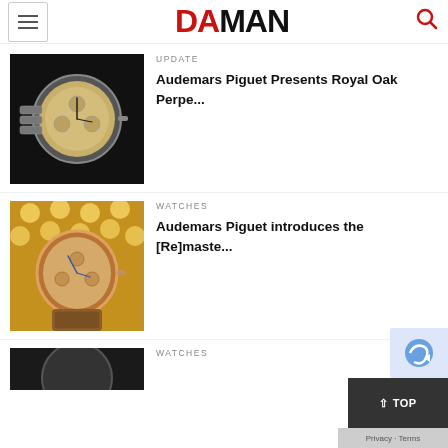DA MAN
UPDATE
[Figure (photo): Audemars Piguet Royal Oak Perpetual Calendar watch on black background, silver bracelet with champagne dial]
Audemars Piguet Presents Royal Oak Perpe...
WATCHES
[Figure (photo): Audemars Piguet watch with brown leather strap on metallic surface with bokeh background]
Audemars Piguet introduces the [Re]maste...
WATCHES
[Figure (photo): Partial view of another watch article at bottom of page]